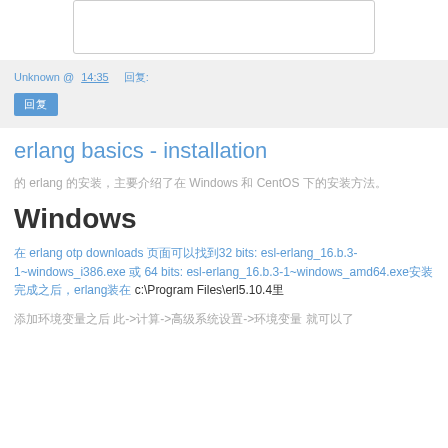[Figure (screenshot): White rectangle box with border, appears to be an image placeholder]
Unknown @ 14:35   回复:
回复
erlang basics - installation
的 erlang 的安装，主要介绍了在 Windows 和 CentOS 下的安装方法。
Windows
在 erlang otp downloads 页面可以找到32 bits: esl-erlang_16.b.3-1~windows_i386.exe 或 64 bits: esl-erlang_16.b.3-1~windows_amd64.exe安装完成之后，erlang装在 c:\Program Files\erl5.10.4里
添加环境变量之后 此->计算->高级系统设置->环境变量 就可以了